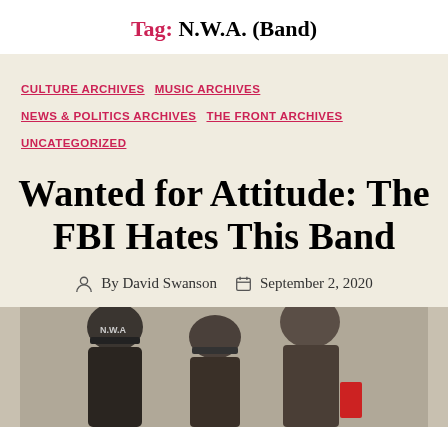Tag: N.W.A. (Band)
CULTURE ARCHIVES  MUSIC ARCHIVES  NEWS & POLITICS ARCHIVES  THE FRONT ARCHIVES  UNCATEGORIZED
Wanted for Attitude: The FBI Hates This Band
By David Swanson  September 2, 2020
[Figure (photo): Black and white photograph of N.W.A. members wearing caps, partially cropped at bottom of page]